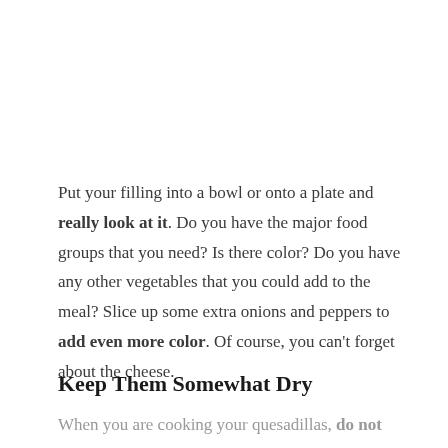Put your filling into a bowl or onto a plate and really look at it. Do you have the major food groups that you need? Is there color? Do you have any other vegetables that you could add to the meal? Slice up some extra onions and peppers to add even more color. Of course, you can't forget about the cheese.
Keep Them Somewhat Dry
When you are cooking your quesadillas, do not add too much oil or butter. This will make your quesadilla